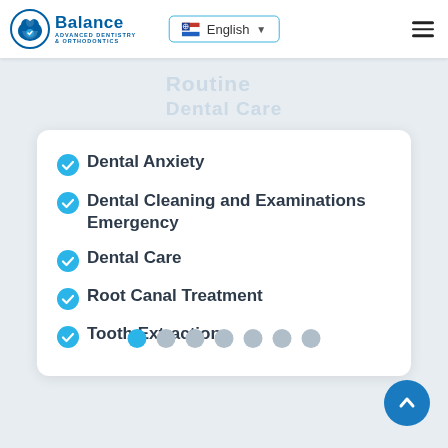Balance Advanced Dentistry & Orthodontics | English
Routine Dental Care
Dental Anxiety
Dental Cleaning and Examinations Emergency
Dental Care
Root Canal Treatment
Tooth Extraction